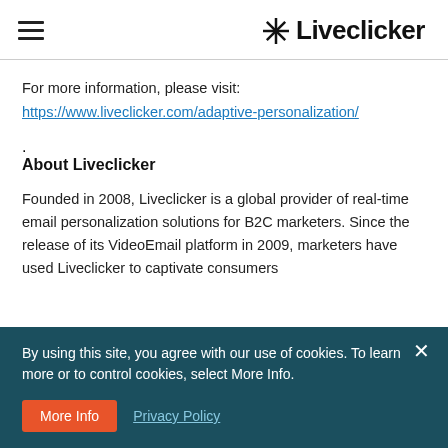Liveclicker
For more information,  please visit:
https://www.liveclicker.com/adaptive-personalization/.
About Liveclicker
Founded in 2008, Liveclicker is a global provider of real-time email personalization solutions for B2C marketers. Since the release of its VideoEmail platform in 2009, marketers have used Liveclicker to captivate consumers
By using this site, you agree with our use of cookies. To learn more or to control cookies, select More Info.
More Info   Privacy Policy